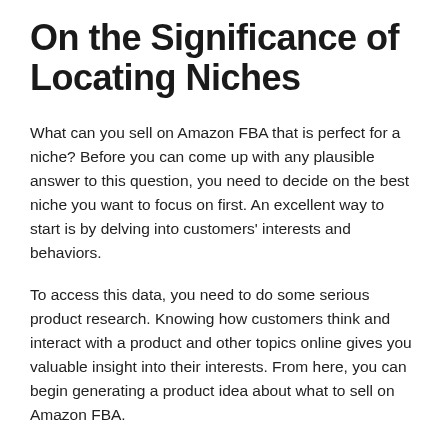On the Significance of Locating Niches
What can you sell on Amazon FBA that is perfect for a niche? Before you can come up with any plausible answer to this question, you need to decide on the best niche you want to focus on first. An excellent way to start is by delving into customers' interests and behaviors.
To access this data, you need to do some serious product research. Knowing how customers think and interact with a product and other topics online gives you valuable insight into their interests. From here, you can begin generating a product idea about what to sell on Amazon FBA.
Now, as you start digging online, consider using these